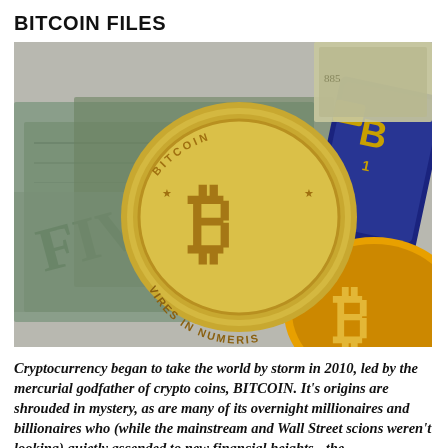BITCOIN FILES
[Figure (photo): A gold Bitcoin physical coin with 'VIRES IN NUMERIS' inscription resting on US dollar bills, with a blue credit card and an orange/yellow Bitcoin token in the background.]
Cryptocurrency began to take the world by storm in 2010, led by the mercurial godfather of crypto coins, BITCOIN. It's origins are shrouded in mystery, as are many of its overnight millionaires and billionaires who (while the mainstream and Wall Street scions weren't looking) quietly ascended to new financial heights - the